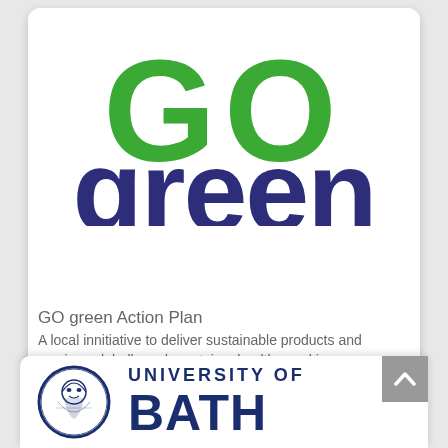[Figure (logo): GO green logo — large green bold 'GO' text above large dark navy bold 'green' text on a white rounded card]
GO green Action Plan
A local innitiative to deliver sustainable products and services globally and mantain a healthy working environment.
[Figure (logo): University of Bath logo — circular crest with face illustration on left, 'UNIVERSITY OF BATH' text on right in navy blue]